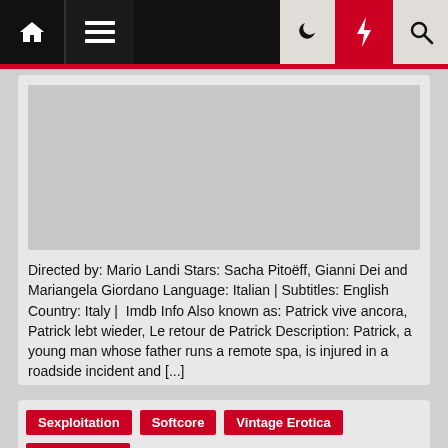Navigation bar with home, menu, moon, lightning, and search icons
[Figure (photo): Image placeholder / thumbnail area within a content card]
Directed by: Mario Landi Stars: Sacha Pitoëff, Gianni Dei and Mariangela Giordano Language: Italian | Subtitles: English Country: Italy | Imdb Info Also known as: Patrick vive ancora, Patrick lebt wieder, Le retour de Patrick Description: Patrick, a young man whose father runs a remote spa, is injured in a roadside incident and [...]
Sexploitation
Softcore
Vintage Erotica
Vintage Porn